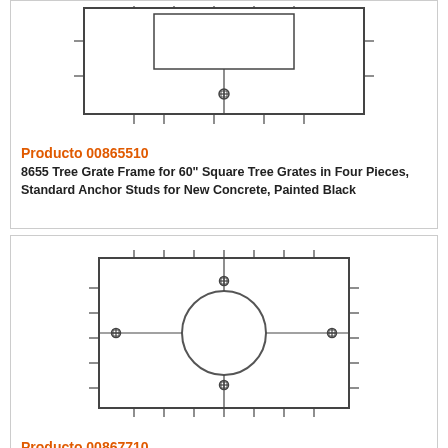[Figure (engineering-diagram): Top-view technical drawing of 8655 Tree Grate Frame for 60 inch square tree grates - rectangular frame with anchor studs and central connector, four-piece assembly shown partially]
Producto 00865510
8655 Tree Grate Frame for 60" Square Tree Grates in Four Pieces, Standard Anchor Studs for New Concrete, Painted Black
[Figure (engineering-diagram): Top-view technical drawing of a square tree grate frame with a circular opening in the center, anchor studs on all four sides, and dimension tick marks around the perimeter]
Producto 00867710